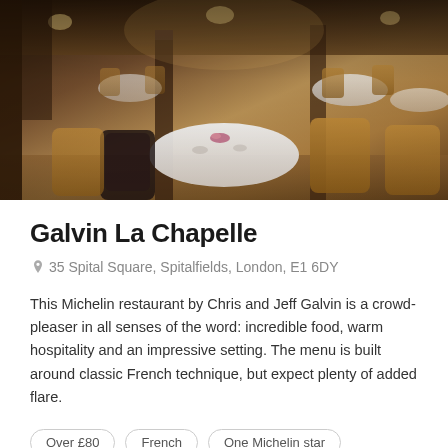[Figure (photo): Interior of Galvin La Chapelle restaurant showing elegant dining room with white-clothed round tables, tan leather chairs, dark tufted chairs, ornate columns and warm lighting]
Galvin La Chapelle
35 Spital Square, Spitalfields, London, E1 6DY
This Michelin restaurant by Chris and Jeff Galvin is a crowd-pleaser in all senses of the word: incredible food, warm hospitality and an impressive setting. The menu is built around classic French technique, but expect plenty of added flare.
Over £80
French
One Michelin star
BOOK NOW
[Figure (photo): Partial view of another restaurant listing below, showing food/interior images cropped at bottom of page]